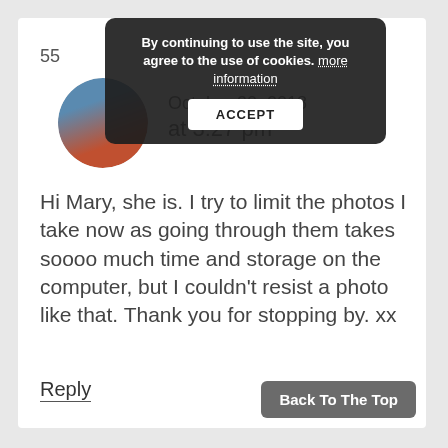[Figure (screenshot): Cookie consent banner overlay with dark background, text 'By continuing to use the site, you agree to the use of cookies. more information' and an ACCEPT button]
55
[Figure (photo): Circular avatar photo of a person outdoors]
October 30, 2018 at 3:27 pm
Hi Mary, she is. I try to limit the photos I take now as going through them takes soooo much time and storage on the computer, but I couldn't resist a photo like that. Thank you for stopping by. xx
Reply
Back To The Top